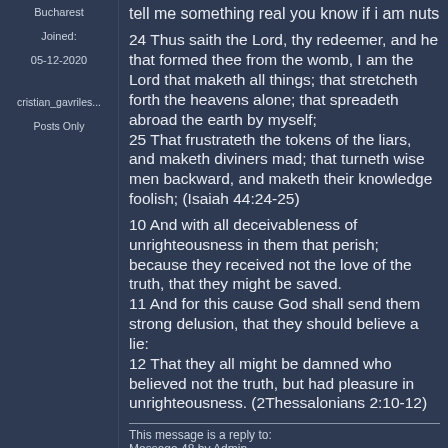Bucharest
Joined:
05-12-2020
cristian_gavriles...
Posts Only
tell me something real you know if i am nuts
24 Thus saith the Lord, thy redeemer, and he that formed thee from the womb, I am the Lord that maketh all things; that stretcheth forth the heavens alone; that spreadeth abroad the earth by myself;
25 That frustrateth the tokens of the liars, and maketh diviners mad; that turneth wise men backward, and maketh their knowledge foolish; (Isaiah 44:24-25)
10 And with all deceivableness of unrighteousness in them that perish; because they received not the love of the truth, that they might be saved.
11 And for this cause God shall send them strong delusion, that they should believe a lie:
12 That they all might be damned who believed not the truth, but had pleasure in unrighteousness. (2Thessalonians 2:10-12)
This message is a reply to:
Message 48 by Admin